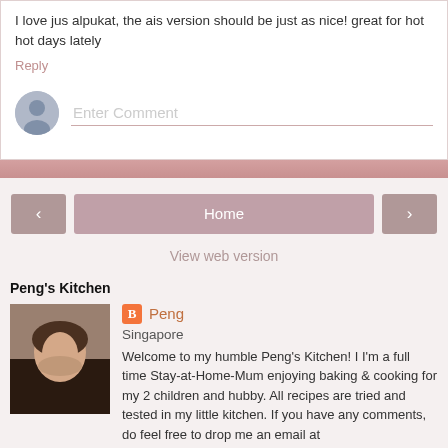I love jus alpukat, the ais version should be just as nice! great for hot hot days lately
Reply
Enter Comment
Home
View web version
Peng's Kitchen
Peng
Singapore
Welcome to my humble Peng's Kitchen! I I'm a full time Stay-at-Home-Mum enjoying baking & cooking for my 2 children and hubby. All recipes are tried and tested in my little kitchen. If you have any comments, do feel free to drop me an email at veronicachio@hotmail.com or follow me at instag_address